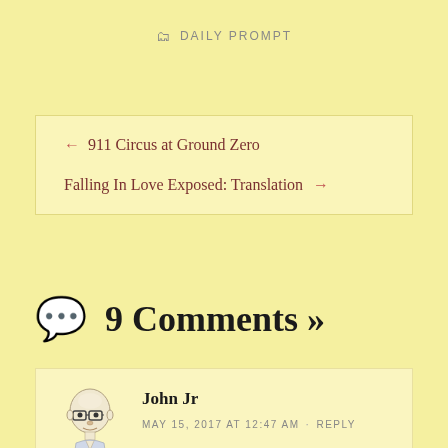DAILY PROMPT
← 911 Circus at Ground Zero
Falling In Love Exposed: Translation →
9 Comments »
John Jr
MAY 15, 2017 AT 12:47 AM · REPLY